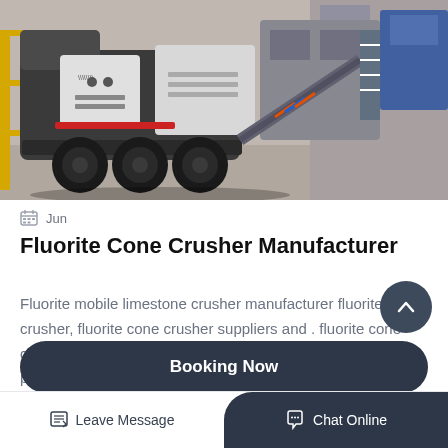[Figure (photo): Mobile cone crusher machine on a truck trailer inside an industrial facility. The machine is large, dark gray/black, with prominent tires and a conveyor system visible in the background.]
Jun
Fluorite Cone Crusher Manufacturer
Fluorite mobile limestone crusher manufacturer fluorite cone crusher, fluorite cone crusher suppliers and . fluorite cone crusher, wholesale various high quality fluorite cone crusher products high...
Booking Now
Leave Message
Chat Online